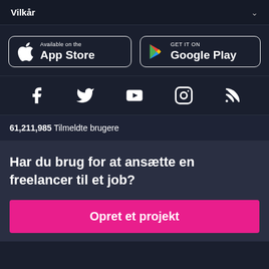Vilkår
[Figure (other): App Store and Google Play download badges]
[Figure (other): Social media icons: Facebook, Twitter, YouTube, Instagram, RSS]
61,211,985  Tilmeldte brugere
Har du brug for at ansætte en freelancer til et job?
Opret et projekt